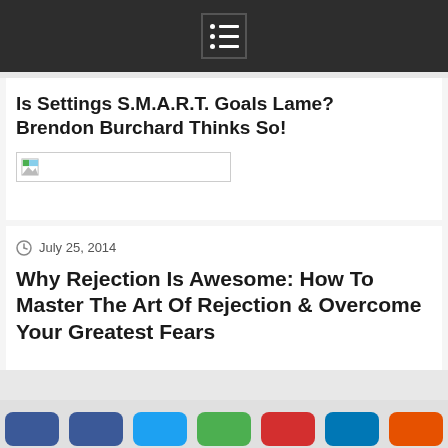Is Settings S.M.A.R.T. Goals Lame? Brendon Burchard Thinks So!
[Figure (photo): Broken image placeholder with small icon]
July 25, 2014
Why Rejection Is Awesome: How To Master The Art Of Rejection & Overcome Your Greatest Fears